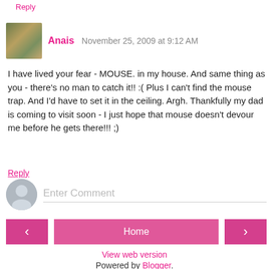Reply
Anais  November 25, 2009 at 9:12 AM
I have lived your fear - MOUSE. in my house. And same thing as you - there's no man to catch it!! :( Plus I can't find the mouse trap. And I'd have to set it in the ceiling. Argh. Thankfully my dad is coming to visit soon - I just hope that mouse doesn't devour me before he gets there!!! ;)
Reply
Enter Comment
Home
View web version
Powered by Blogger.